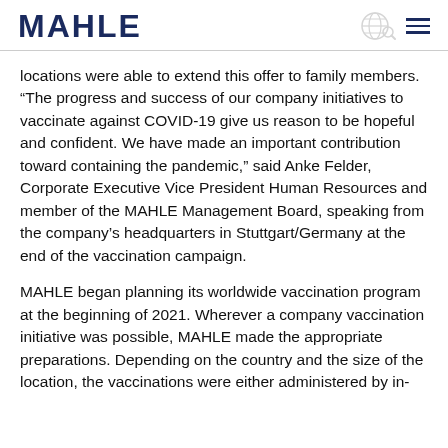MAHLE
locations were able to extend this offer to family members. “The progress and success of our company initiatives to vaccinate against COVID-19 give us reason to be hopeful and confident. We have made an important contribution toward containing the pandemic,” said Anke Felder, Corporate Executive Vice President Human Resources and member of the MAHLE Management Board, speaking from the company’s headquarters in Stuttgart/Germany at the end of the vaccination campaign.
MAHLE began planning its worldwide vaccination program at the beginning of 2021. Wherever a company vaccination initiative was possible, MAHLE made the appropriate preparations. Depending on the country and the size of the location, the vaccinations were either administered by in-